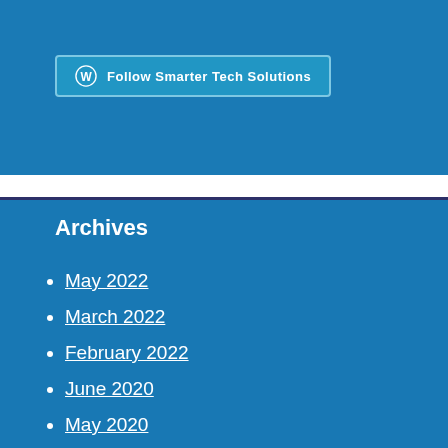[Figure (screenshot): WordPress Follow button with WordPress logo and text 'Follow Smarter Tech Solutions' on a blue background with rounded rectangle border]
Archives
May 2022
March 2022
February 2022
June 2020
May 2020